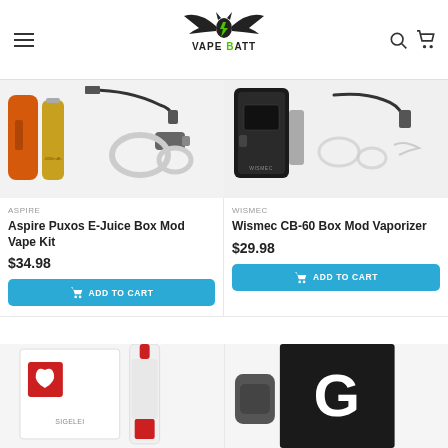[Figure (logo): Vape Batt logo with bat wings and green lightning bolt, text VAPE BATT]
[Figure (photo): Aspire Puxos E-Juice Box Mod Vape Kit product image showing orange tube battery, gold battery, USB cable, car charger, and vape rings]
ASPIRE
Aspire Puxos E-Juice Box Mod Vape Kit
$34.98
ADD TO CART
[Figure (photo): Wismec CB-60 Box Mod Vaporizer product image showing black box mod with USB cable and accessories]
WISMEC
Wismec CB-60 Box Mod Vaporizer
$29.98
ADD TO CART
[Figure (photo): Partial product image at bottom left - appears to be a vape tank with red accents in white box]
[Figure (photo): Partial product image at bottom right - dark packaging with letter G visible]